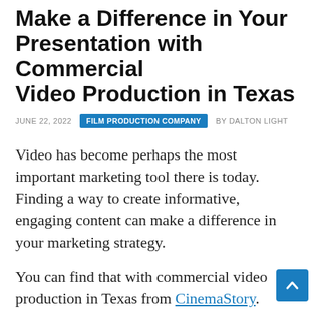Make a Difference in Your Presentation with Commercial Video Production in Texas
JUNE 22, 2022  FILM PRODUCTION COMPANY  BY DALTON LIGHT
Video has become perhaps the most important marketing tool there is today. Finding a way to create informative, engaging content can make a difference in your marketing strategy.
You can find that with commercial video production in Texas from CinemaStory. When you have professionally-produced video content, it can be a great way to present your business.